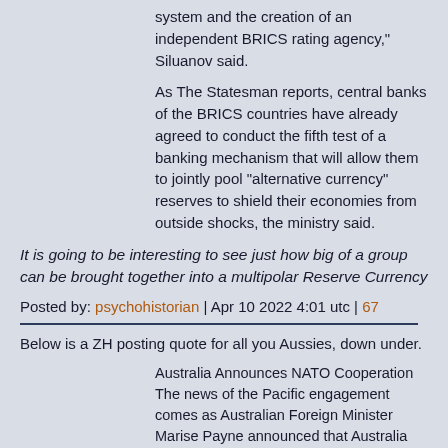system and the creation of an independent BRICS rating agency," Siluanov said.
As The Statesman reports, central banks of the BRICS countries have already agreed to conduct the fifth test of a banking mechanism that will allow them to jointly pool "alternative currency" reserves to shield their economies from outside shocks, the ministry said.
It is going to be interesting to see just how big of a group can be brought together into a multipolar Reserve Currency
Posted by: psychohistorian | Apr 10 2022 4:01 utc | 67
Below is a ZH posting quote for all you Aussies, down under.
Australia Announces NATO Cooperation
The news of the Pacific engagement comes as Australian Foreign Minister Marise Payne announced that Australia will be cooperating with NATO to help the organisation better counter hybrid threats and disinformation and reinforce Australia’s support for NATO.

Payne said on April 7 that Australia would partner with the NATO Strategic Communications Centre of